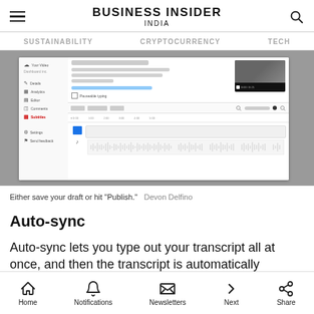BUSINESS INSIDER INDIA
SUSTAINABILITY   CRYPTOCURRENCY   TECH
[Figure (screenshot): Screenshot of YouTube Studio subtitle/caption editor interface showing video timeline, waveform, and subtitle editing tools]
Either save your draft or hit "Publish."  Devon Delfino
Auto-sync
Auto-sync lets you type out your transcript all at once, and then the transcript is automatically
Home   Notifications   Newsletters   Next   Share